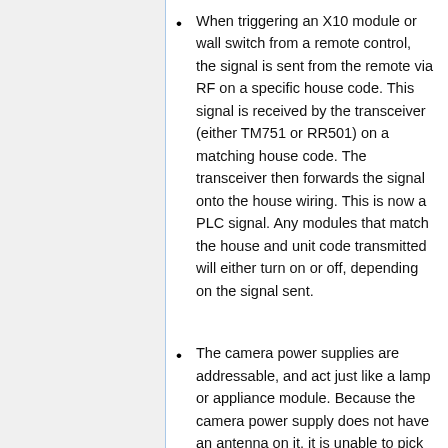When triggering an X10 module or wall switch from a remote control, the signal is sent from the remote via RF on a specific house code. This signal is received by the transceiver (either TM751 or RR501) on a matching house code. The transceiver then forwards the signal onto the house wiring. This is now a PLC signal. Any modules that match the house and unit code transmitted will either turn on or off, depending on the signal sent.
The camera power supplies are addressable, and act just like a lamp or appliance module. Because the camera power supply does not have an antenna on it, it is unable to pick